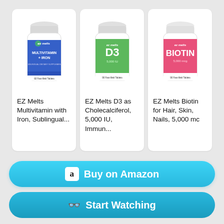[Figure (photo): EZ Melts Multivitamin with Iron supplement bottle, blue label]
EZ Melts Multivitamin with Iron, Sublingual...
[Figure (photo): EZ Melts D3 as Cholecalciferol supplement bottle, green label]
EZ Melts D3 as Cholecalciferol, 5,000 IU, Immun...
[Figure (photo): EZ Melts Biotin supplement bottle, pink label]
EZ Melts Biotin for Hair, Skin, Nails, 5,000 mc
Buy on Amazon
Start Watching